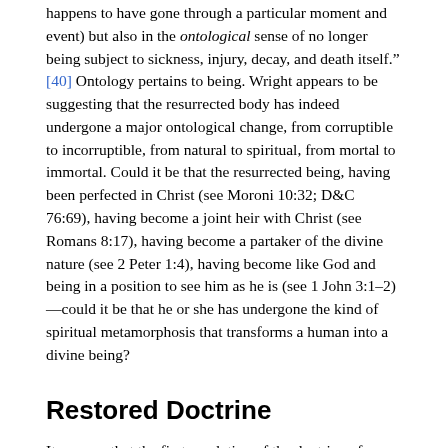happens to have gone through a particular moment and event) but also in the ontological sense of no longer being subject to sickness, injury, decay, and death itself." [40] Ontology pertains to being. Wright appears to be suggesting that the resurrected body has indeed undergone a major ontological change, from corruptible to incorruptible, from natural to spiritual, from mortal to immortal. Could it be that the resurrected being, having been perfected in Christ (see Moroni 10:32; D&C 76:69), having become a joint heir with Christ (see Romans 8:17), having become a partaker of the divine nature (see 2 Peter 1:4), having become like God and being in a position to see him as he is (see 1 John 3:1–2)—could it be that he or she has undergone the kind of spiritual metamorphosis that transforms a human into a divine being?
Restored Doctrine
It appears that the first revelation of the doctrine of deification to the restored Church came in the Vision of the Glories on February 16, 1832, at Father John Johnson's home. Those who attain unto the highest heaven are described as people who "overcome by faith, and are sealed by the Holy Spirit of promise, which the Father sheds forth upon all those